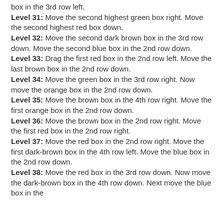box in the 3rd row left.
Level 31: Move the second highest green box right. Move the second highest red box down.
Level 32: Move the second dark brown box in the 3rd row down. Move the second blue box in the 2nd row down.
Level 33: Drag the first red box in the 2nd row left. Move the last brown box in the 2nd row down.
Level 34: Move the green box in the 3rd row right. Now move the orange box in the 2nd row down.
Level 35: Move the brown box in the 4th row right. Move the first orange box in the 2nd row down.
Level 36: Move the brown box in the 2nd row right. Move the first red box in the 2nd row right.
Level 37: Move the red box in the 2nd row right. Move the first dark-brown box in the 4th row left. Move the blue box in the 2nd row down.
Level 38: Move the red box in the 3rd row down. Now move the dark-brown box in the 4th row down. Next move the blue box in the